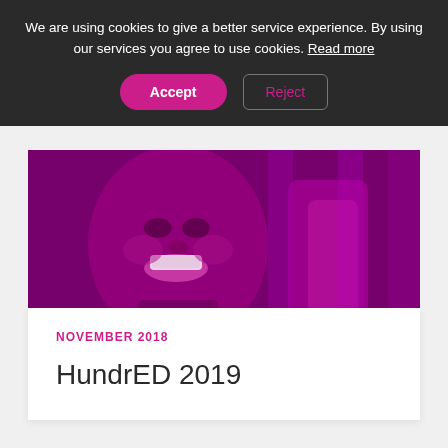We are using cookies to give a better service experience. By using our services you agree to use cookies. Read more
Accept   Reject
[Figure (photo): A child smiling, photo rendered with a magenta/pink color overlay. Shows a close-up of a child's face and hands.]
NOVEMBER 2018
HundrED 2019